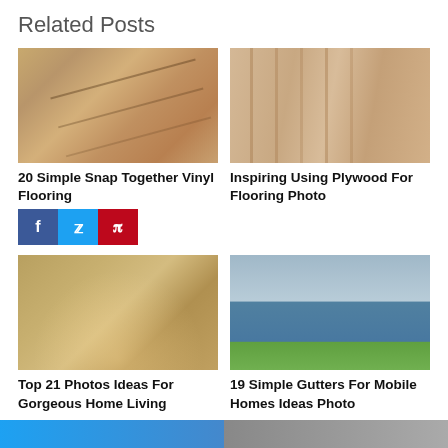Related Posts
[Figure (photo): Close-up of tan/brown vinyl flooring tiles showing seams]
20 Simple Snap Together Vinyl Flooring
[Figure (photo): Light wood plywood flooring boards shot at an angle]
Inspiring Using Plywood For Flooring Photo
[Figure (photo): Elegant living room with arched windows, fireplace, and ornate furniture]
Top 21 Photos Ideas For Gorgeous Home Living
[Figure (photo): Blue house exterior with white trim and green lawn]
19 Simple Gutters For Mobile Homes Ideas Photo